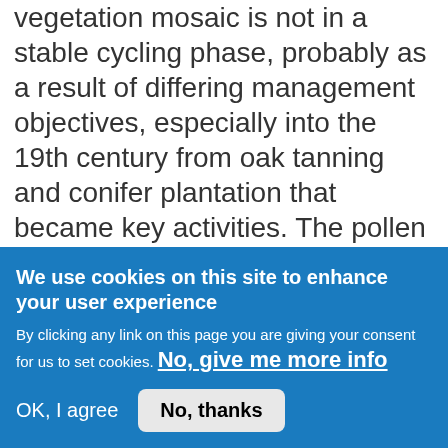vegetation mosaic is not in a stable cycling phase, probably as a result of differing management objectives, especially into the 19th century from oak tanning and conifer plantation that became key activities. The pollen data of this period shows species groupings that have no match in the previous 7500 years.
Given the choice, where would you place
We use cookies on this site to enhance your user experience
By clicking any link on this page you are giving your consent for us to set cookies. No, give me more info
OK, I agree
No, thanks